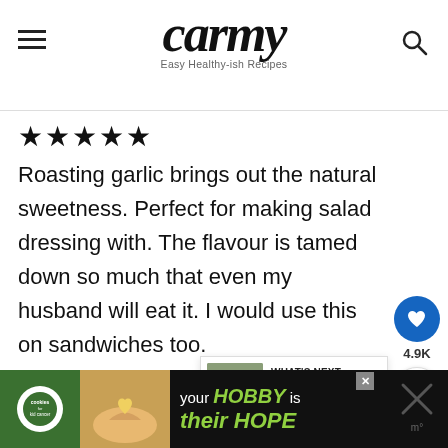carmy — Easy Healthy-ish Recipes
★★★★★
Roasting garlic brings out the natural sweetness. Perfect for making salad dressing with. The flavour is tamed down so much that even my husband will eat it. I would use this on sandwiches too.
[Figure (screenshot): Heart/save button (blue circle with heart icon) showing 4.9K saves, and a share button below it]
[Figure (screenshot): What's Next card showing Cold Chicken Spinach Pas... with thumbnail]
[Figure (infographic): Advertisement banner: cookies for kid cancer — your HOBBY is their HOPE]